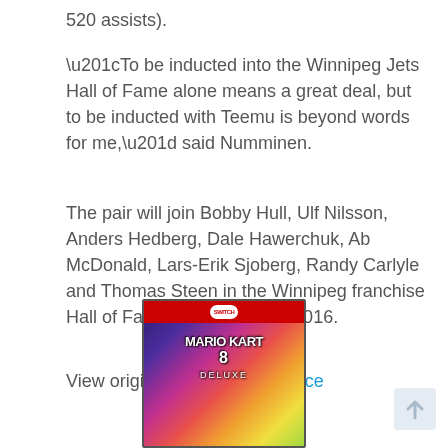520 assists).
“To be inducted into the Winnipeg Jets Hall of Fame alone means a great deal, but to be inducted with Teemu is beyond words for me,” said Numminen.
The pair will join Bobby Hull, Ulf Nilsson, Anders Hedberg, Dale Hawerchuk, Ab McDonald, Lars-Erik Sjoberg, Randy Carlyle and Thomas Steen in the Winnipeg franchise Hall of Fame, established in 2016.
View original article here Source
[Figure (photo): Mario Kart 8 Deluxe Nintendo Switch game box art advertisement]